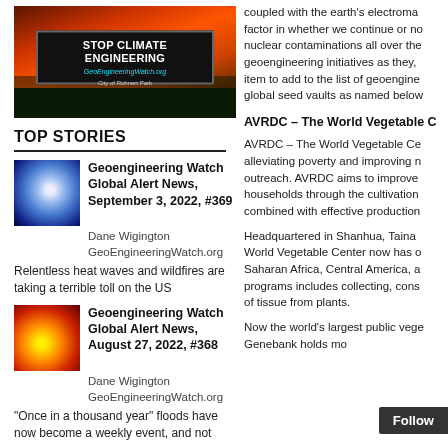[Figure (photo): Billboard reading 'STOP CLIMATE ENGINEERING GeoEngineeringWatch.org' with fiery orange background and trees, City of Rohnert Park]
TOP STORIES
[Figure (photo): Thumbnail image of hurricane/storm system]
Geoengineering Watch Global Alert News, September 3, 2022, #369
Dane Wigington GeoEngineeringWatch.org
Relentless heat waves and wildfires are taking a terrible toll on the US
[Figure (photo): Thumbnail image with heat/fire pattern]
Geoengineering Watch Global Alert News, August 27, 2022, #368
Dane Wigington GeoEngineeringWatch.org
"Once in a thousand year" floods have now become a weekly event, and not
[Figure (photo): Thumbnail placeholder for third story]
coupled with the earth's electroma... factor in whether we continue or no... nuclear contaminations all over the... geoengineering initiatives as they,... item to add to the list of geoengine... global seed vaults as named below
AVRDC – The World Vegetable C...
AVRDC – The World Vegetable Ce... alleviating poverty and improving n... outreach. AVRDC aims to improve... households through the cultivation... combined with effective production...
Headquartered in Shanhua, Taina... World Vegetable Center now has o... Saharan Africa, Central America, a... programs includes collecting, cons... of tissue from plants.
Now the world's largest public vege... Genebank holds mo...